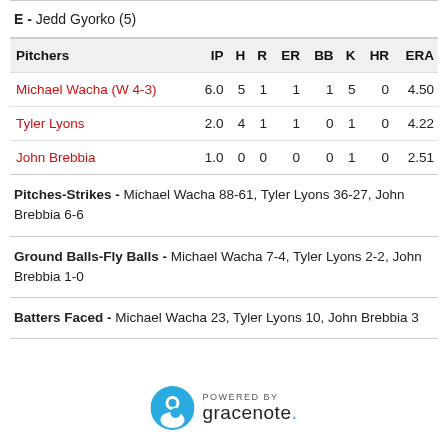E - Jedd Gyorko (5)
| Pitchers | IP | H | R | ER | BB | K | HR | ERA |
| --- | --- | --- | --- | --- | --- | --- | --- | --- |
| Michael Wacha (W 4-3) | 6.0 | 5 | 1 | 1 | 1 | 5 | 0 | 4.50 |
| Tyler Lyons | 2.0 | 4 | 1 | 1 | 0 | 1 | 0 | 4.22 |
| John Brebbia | 1.0 | 0 | 0 | 0 | 0 | 1 | 0 | 2.51 |
Pitches-Strikes - Michael Wacha 88-61, Tyler Lyons 36-27, John Brebbia 6-6
Ground Balls-Fly Balls - Michael Wacha 7-4, Tyler Lyons 2-2, John Brebbia 1-0
Batters Faced - Michael Wacha 23, Tyler Lyons 10, John Brebbia 3
[Figure (logo): Powered by Gracenote logo]